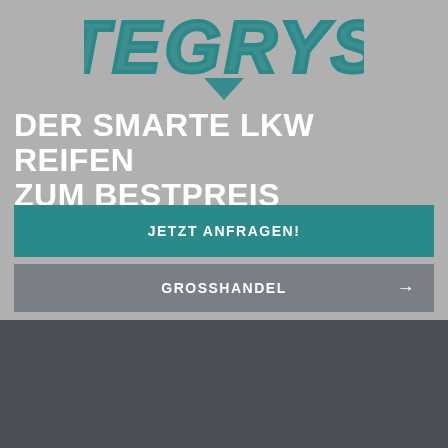[Figure (logo): TEGRYS brand logo in teal/dark teal color with geometric angular lettering on grey background]
DER SMARTE LKW REIFEN ZUM BESTPREIS
JETZT ANFRAGEN!
GROSSHANDEL →
Navigation
Start
Kontakt
Profile
TE48-S
TE48-D
TE48-T